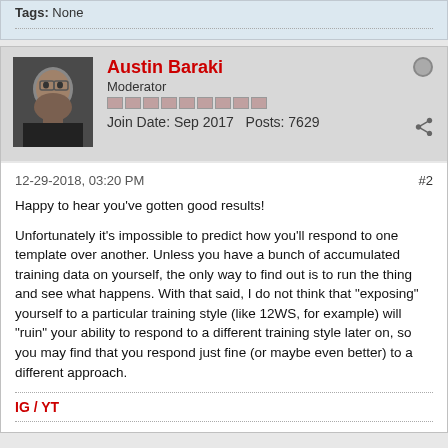Tags: None
Austin Baraki
Moderator
Join Date: Sep 2017   Posts: 7629
12-29-2018, 03:20 PM
#2
Happy to hear you've gotten good results!
Unfortunately it's impossible to predict how you'll respond to one template over another. Unless you have a bunch of accumulated training data on yourself, the only way to find out is to run the thing and see what happens. With that said, I do not think that "exposing" yourself to a particular training style (like 12WS, for example) will "ruin" your ability to respond to a different training style later on, so you may find that you respond just fine (or maybe even better) to a different approach.
IG / YT